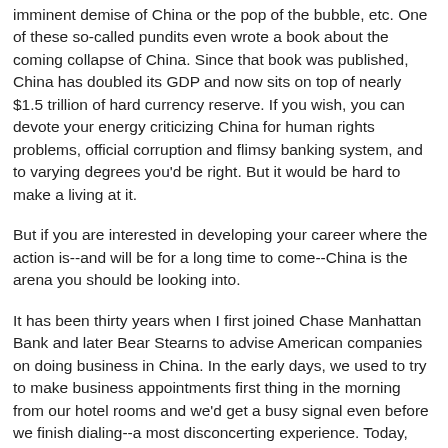imminent demise of China or the pop of the bubble, etc. One of these so-called pundits even wrote a book about the coming collapse of China. Since that book was published, China has doubled its GDP and now sits on top of nearly $1.5 trillion of hard currency reserve. If you wish, you can devote your energy criticizing China for human rights problems, official corruption and flimsy banking system, and to varying degrees you'd be right. But it would be hard to make a living at it.
But if you are interested in developing your career where the action is--and will be for a long time to come--China is the arena you should be looking into.
It has been thirty years when I first joined Chase Manhattan Bank and later Bear Stearns to advise American companies on doing business in China. In the early days, we used to try to make business appointments first thing in the morning from our hotel rooms and we'd get a busy signal even before we finish dialing--a most disconcerting experience. Today, China has roughly 500 million cellular phones and equal or more land lines. In some cities, completely wired in glass